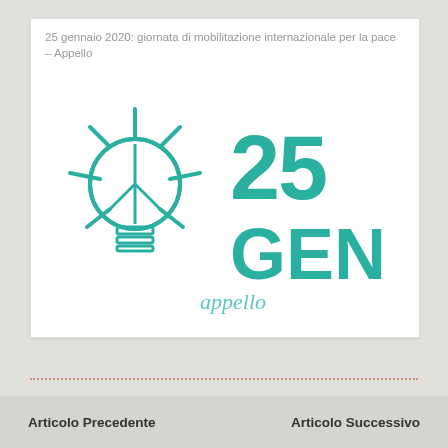25 gennaio 2020: giornata di mobilitazione internazionale per la pace – Appello
[Figure (illustration): Illustration of a light bulb with a peace symbol inside, drawn in teal/turquoise outline style, with rays around it. To the right, large bold teal text reads '25 GEN'. Below, italic teal text reads 'appello'.]
Articolo Precedente    Articolo Successivo